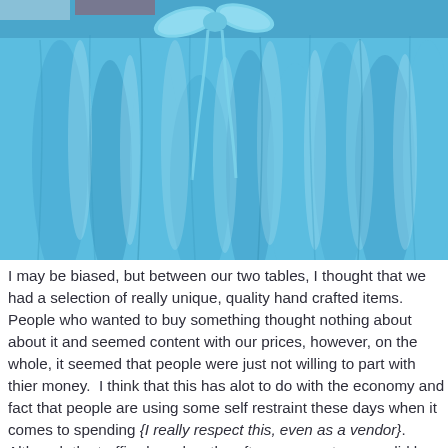[Figure (photo): Close-up photograph of a blue tulle skirt or tutu with a light blue ribbon bow at the top, showing flowing layers of pale blue fabric]
I may be biased, but between our two tables, I thought that we had a selection of really unique, quality hand crafted items.  People who wanted to buy something thought nothing about about it and seemed content with our prices, however, on the whole, it seemed that people were just not willing to part with thier money.  I think that this has alot to do with the economy and fact that people are using some self restraint these days when it comes to spending {I really respect this, even as a vendor}.  Although the traffic slowed as the afternoon went on, we did have a pretty steady flow of people coming to our table.. how could they not be, it was beuatifull. We decided to